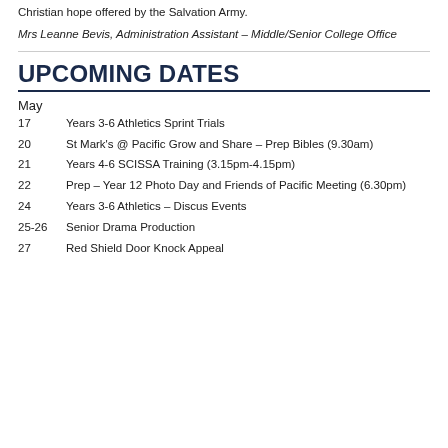Christian hope offered by the Salvation Army.
Mrs Leanne Bevis, Administration Assistant – Middle/Senior College Office
UPCOMING DATES
May
17    Years 3-6 Athletics Sprint Trials
20    St Mark's @ Pacific Grow and Share – Prep Bibles (9.30am)
21    Years 4-6 SCISSA Training (3.15pm-4.15pm)
22    Prep – Year 12 Photo Day and Friends of Pacific Meeting (6.30pm)
24    Years 3-6 Athletics – Discus Events
25-26  Senior Drama Production
27    Red Shield Door Knock Appeal